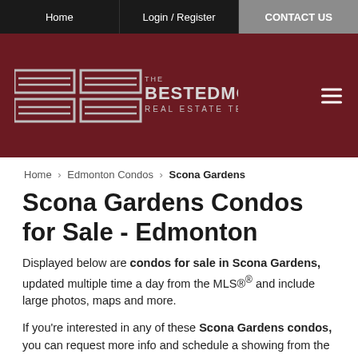Home | Login / Register | CONTACT US
[Figure (logo): The Best Edmonton Real Estate Team logo on dark red background with hamburger menu icon]
Home › Edmonton Condos › Scona Gardens
Scona Gardens Condos for Sale - Edmonton
Displayed below are condos for sale in Scona Gardens, updated multiple time a day from the MLS®® and include large photos, maps and more.
If you're interested in any of these Scona Gardens condos, you can request more info and schedule a showing from the detail page of each listing. We have access to the past sales history and disclosure of each property, and the local knowledge to help you